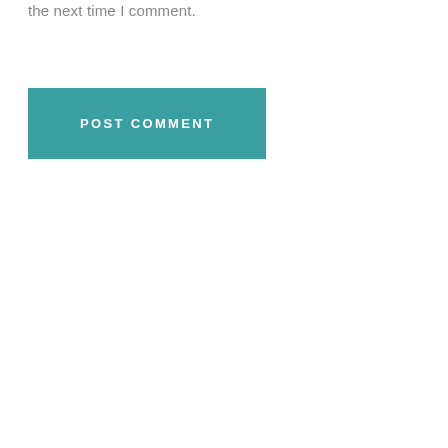the next time I comment.
POST COMMENT